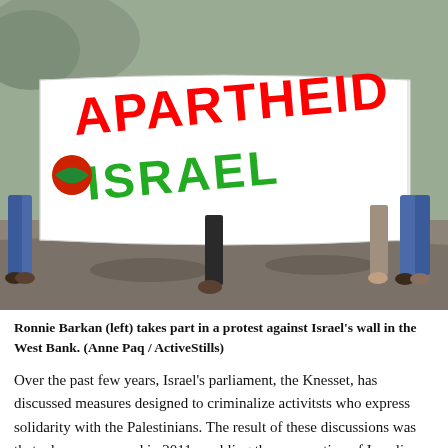[Figure (photo): Protesters holding a large white banner with 'APARTHEID ISRAEL' written in red and green spray paint, walking on a road in the West Bank. People visible holding banner on left and right sides.]
Ronnie Barkan (left) takes part in a protest against Israel's wall in the West Bank. (Anne Paq / ActiveStills)
Over the past few years, Israel's parliament, the Knesset, has discussed measures designed to criminalize activitsts who express solidarity with the Palestinians. The result of these discussions was that a law was passed in 2011, enabling the prosecution of Israelis who urge a boycott of Israeli goods or institutions.
Ronnie Barkan is the kind of activist directly targeted by that law. He is a founding member of Boycott from Within, an